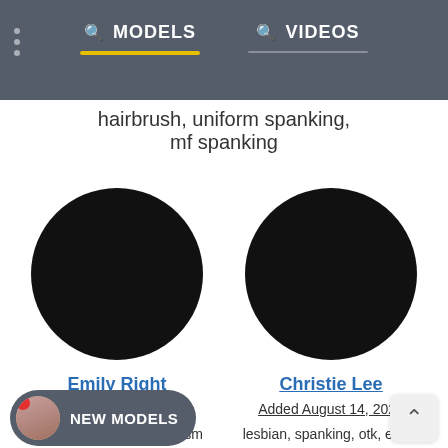MODELS | VIDEOS
hairbrush, uniform spanking, mf spanking
[Figure (photo): Black circle avatar placeholder for model Emily Right]
Emily Right
Added August 17, 2022
teens solo, artistic eroticism
[Figure (photo): Black circle avatar placeholder for model Christie Lee]
Christie Lee
Added August 14, 2022
lesbian, spanking, otk, erotic spanking, ff spanking